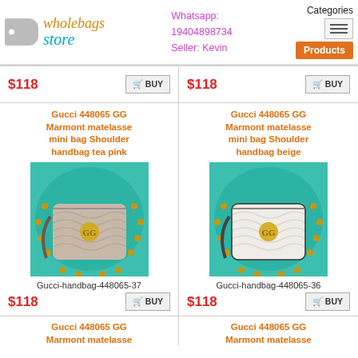wholebags store | Whatsapp: 19404898734 Seller: Kevin | Categories | Products
$118 BUY | $118 BUY
Gucci 448065 GG Marmont matelasse mini bag Shoulder handbag tea pink
[Figure (photo): Gucci 448065 GG Marmont matelasse mini bag shoulder handbag in tea pink/taupe color on teal background]
Gucci-handbag-448065-37
$118 BUY
Gucci 448065 GG Marmont matelasse mini bag Shoulder handbag beige
[Figure (photo): Gucci 448065 GG Marmont matelasse mini bag shoulder handbag in white/beige on teal background]
Gucci-handbag-448065-36
$118 BUY
Gucci 448065 GG Marmont matelasse
Gucci 448065 GG Marmont matelasse